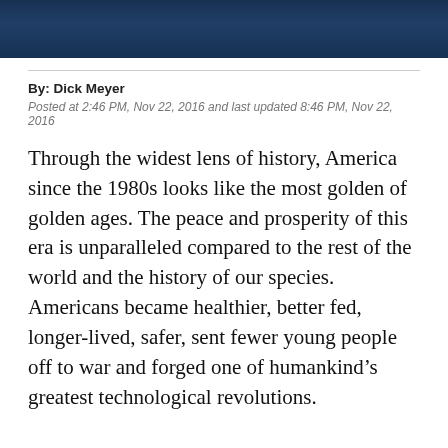[Figure (photo): Dark blue-toned photograph showing a partial figure, cropped at the top of the page]
By: Dick Meyer
Posted at 2:46 PM, Nov 22, 2016 and last updated 8:46 PM, Nov 22, 2016
Through the widest lens of history, America since the 1980s looks like the most golden of golden ages. The peace and prosperity of this era is unparalleled compared to the rest of the world and the history of our species. Americans became healthier, better fed, longer-lived, safer, sent fewer young people off to war and forged one of humankind’s greatest technological revolutions.